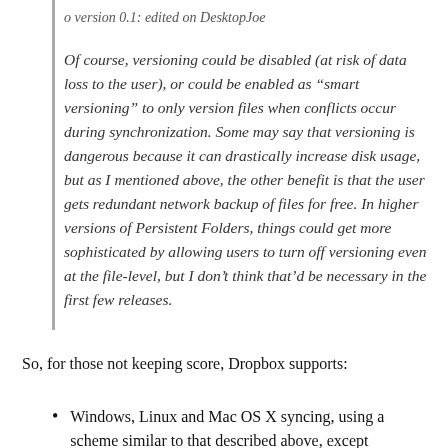o version 0.1: edited on DesktopJoe
Of course, versioning could be disabled (at risk of data loss to the user), or could be enabled as “smart versioning” to only version files when conflicts occur during synchronization. Some may say that versioning is dangerous because it can drastically increase disk usage, but as I mentioned above, the other benefit is that the user gets redundant network backup of files for free. In higher versions of Persistent Folders, things could get more sophisticated by allowing users to turn off versioning even at the file-level, but I don’t think that’d be necessary in the first few releases.
So, for those not keeping score, Dropbox supports:
Windows, Linux and Mac OS X syncing, using a scheme similar to that described above, except